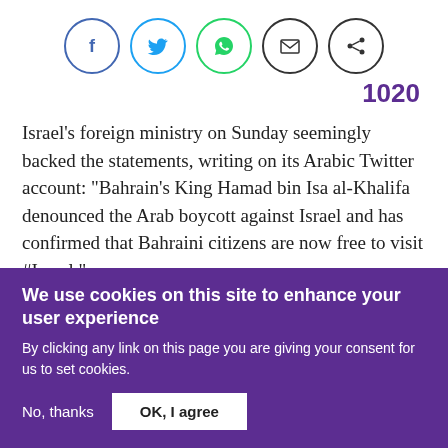[Figure (other): Row of five social sharing icon buttons in circles: Facebook (blue), Twitter (blue), WhatsApp (green), Email (black), Share (black)]
1020
Israel's foreign ministry on Sunday seemingly backed the statements, writing on its Arabic Twitter account: "Bahrain's King Hamad bin Isa al-Khalifa denounced the Arab boycott against Israel and has confirmed that Bahraini citizens are now free to visit #Israel."
The tweet was quickly deleted.
We use cookies on this site to enhance your user experience
By clicking any link on this page you are giving your consent for us to set cookies.
No, thanks   OK, I agree